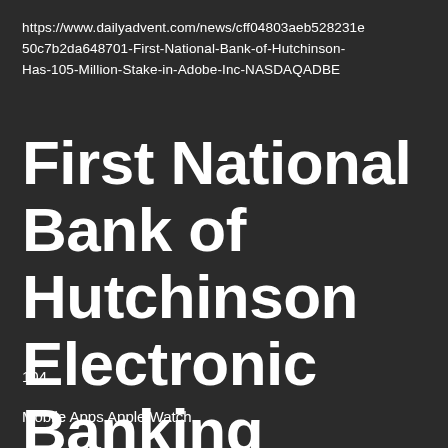https://www.dailyadvent.com/news/cff04803aeb528231e50c7b2da648701-First-National-Bank-of-Hutchinson-Has-105-Million-Stake-in-Adobe-Inc-NASDAQADBE
First National Bank of Hutchinson Electronic Banking Guide
104
Mobile Apps Apple Watch